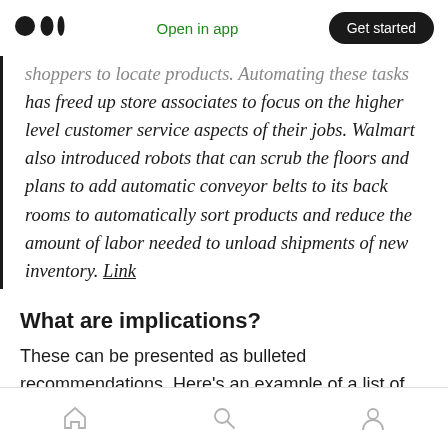Open in app | Get started
shoppers to locate products. Automating these tasks has freed up store associates to focus on the higher level customer service aspects of their jobs. Walmart also introduced robots that can scrub the floors and plans to add automatic conveyor belts to its back rooms to automatically sort products and reduce the amount of labor needed to unload shipments of new inventory. Link
What are implications?
These can be presented as bulleted recommendations. Here’s an example of a list of implications for a trend from that same PSEK